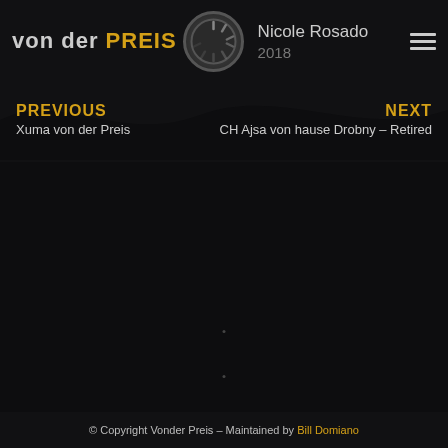von der PREIS — Nicole Rosado 2018
PREVIOUS
Xuma von der Preis
NEXT
CH Ajsa von hause Drobny – Retired
© Copyright Vonder Preis – Maintained by Bill Domiano